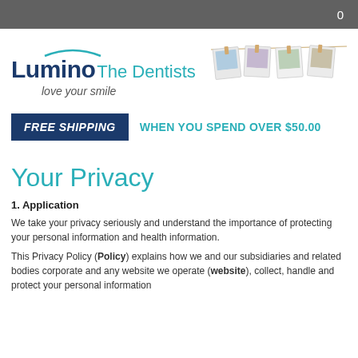0
[Figure (logo): Lumino The Dentists logo with arch/smile graphic above text and 'love your smile' tagline, with photos of families on a clothesline to the right]
FREE SHIPPING WHEN YOU SPEND OVER $50.00
Your Privacy
1. Application
We take your privacy seriously and understand the importance of protecting your personal information and health information.
This Privacy Policy (Policy) explains how we and our subsidiaries and related bodies corporate and any website we operate (website), collect, handle and protect your personal information